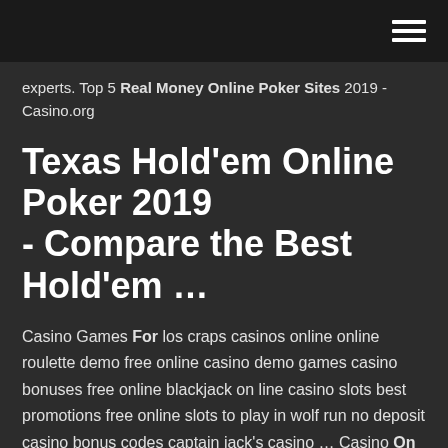experts. Top 5 Real Money Online Poker Sites 2019 - Casino.org
Texas Hold'em Online Poker 2019 - Compare the Best Hold'em …
Casino Games For los craps casinos online online roulette demo free online casino demo games casino bonuses free online blackjack on line casino slots best promotions free online slots to play in wolf run no deposit casino bonus codes captain jack's casino … Casino On Line Action